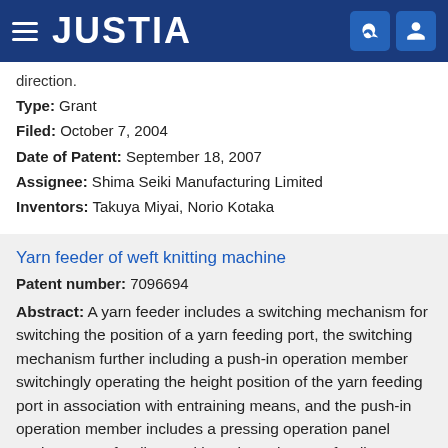JUSTIA
direction.
Type: Grant
Filed: October 7, 2004
Date of Patent: September 18, 2007
Assignee: Shima Seiki Manufacturing Limited
Inventors: Takuya Miyai, Norio Kotaka
Yarn feeder of weft knitting machine
Patent number: 7096694
Abstract: A yarn feeder includes a switching mechanism for switching the position of a yarn feeding port, the switching mechanism further including a push-in operation member switchingly operating the height position of the yarn feeding port in association with entraining means, and the push-in operation member includes a pressing operation panel setting a yarn feeding position where the yarn feeding port mostly